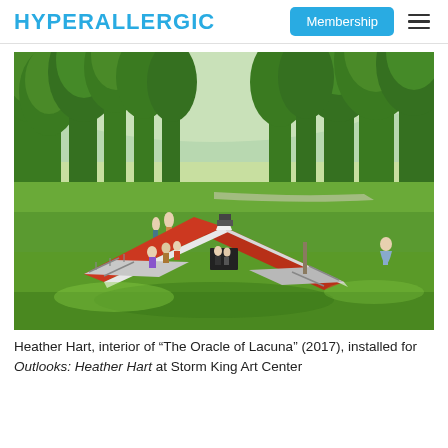HYPERALLERGIC
[Figure (photo): Outdoor photo of Heather Hart's sculptural installation 'The Oracle of Lacuna' (2017) at Storm King Art Center. The artwork appears as a red barn-like structure sunk into the ground at an angle, with a peaked red roof visible above the grass line and white ramps leading up to the structure. People are visible on the ramps and nearby. The background shows a large grassy field with tall green trees under a sunny sky.]
Heather Hart, interior of “The Oracle of Lacuna” (2017), installed for Outlooks: Heather Hart at Storm King Art Center